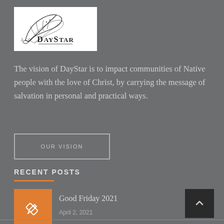[Figure (logo): DayStar logo with feather illustration and text DAYSTAR on white background]
The vision of DayStar is to impact communities of Native people with the love of Christ, by carrying the message of salvation in personal and practical ways.
OUR VISION
RECENT POSTS
[Figure (illustration): Orange square icon with pencil/edit symbol]
Good Friday 2021
April 2, 2021